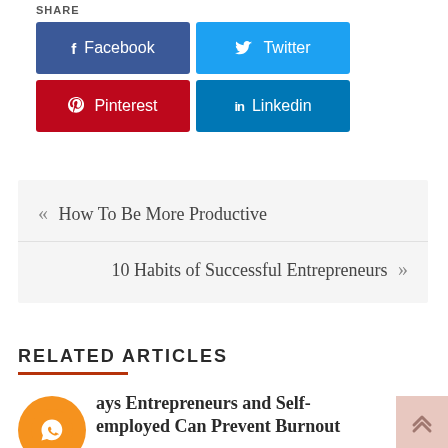SHARE
f Facebook
Twitter
Pinterest
in Linkedin
« How To Be More Productive
10 Habits of Successful Entrepreneurs »
RELATED ARTICLES
ays Entrepreneurs and Self-employed Can Prevent Burnout